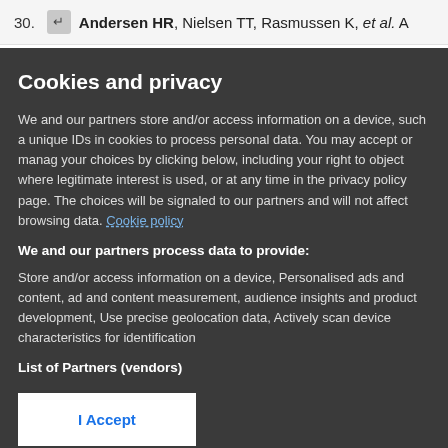30. [↵] Andersen HR, Nielsen TT, Rasmussen K, et al. A
Cookies and privacy
We and our partners store and/or access information on a device, such as unique IDs in cookies to process personal data. You may accept or manage your choices by clicking below, including your right to object where legitimate interest is used, or at any time in the privacy policy page. These choices will be signaled to our partners and will not affect browsing data. Cookie policy
We and our partners process data to provide:
Store and/or access information on a device, Personalised ads and content, ad and content measurement, audience insights and product development, Use precise geolocation data, Actively scan device characteristics for identification
List of Partners (vendors)
I Accept